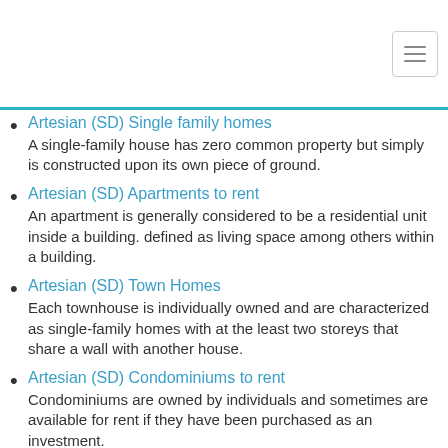Artesian (SD) Single family homes
A single-family house has zero common property but simply is constructed upon its own piece of ground.
Artesian (SD) Apartments to rent
An apartment is generally considered to be a residential unit inside a building. defined as living space among others within a building.
Artesian (SD) Town Homes
Each townhouse is individually owned and are characterized as single-family homes with at the least two storeys that share a wall with another house.
Artesian (SD) Condominiums to rent
Condominiums are owned by individuals and sometimes are available for rent if they have been purchased as an investment.
Artesian (SD) Lofts to rent or for lease
Loft can be a different way of living for a lot of people. The openness and exposed pipes and ductwork creates a different atmosphere to that of conventional homes and apartments.
Artesian (SD) Studio apartments
Ideal for a single person that needs to keep living costs to a minimum. The Layout is normally one room with separate private or